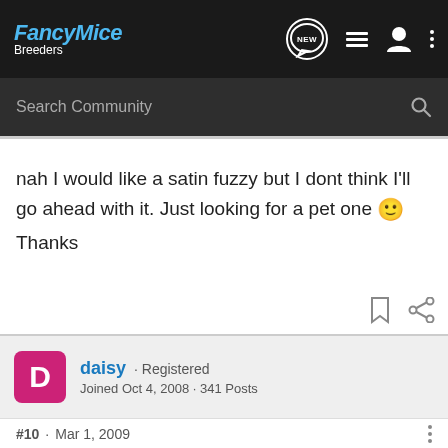FancyMice Breeders
nah I would like a satin fuzzy but I dont think I'll go ahead with it. Just looking for a pet one 🙂
Thanks
daisy · Registered
Joined Oct 4, 2008 · 341 Posts
#10 · Mar 1, 2009
i should have a few more hairless litters over the next couple of